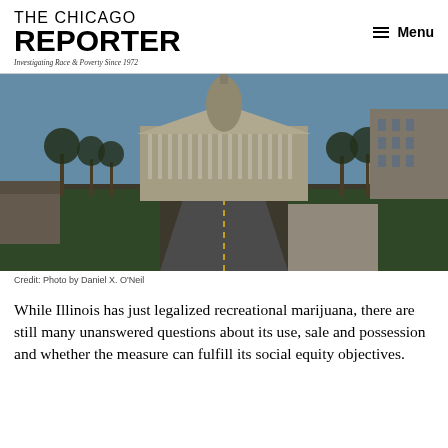THE CHICAGO REPORTER — Investigating Race & Poverty Since 1972 | Menu
[Figure (photo): Aerial view of a road leading toward the Illinois State Capitol building in Springfield, flanked by bare winter trees and other government buildings under a blue sky.]
Credit: Photo by Daniel X. O'Neil
While Illinois has just legalized recreational marijuana, there are still many unanswered questions about its use, sale and possession and whether the measure can fulfill its social equity objectives.